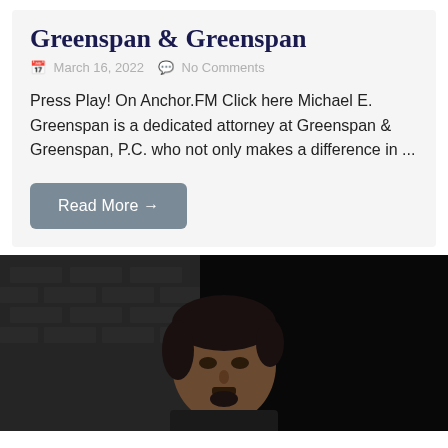Greenspan & Greenspan
March 16, 2022   No Comments
Press Play!  On Anchor.FM Click here Michael E. Greenspan is a dedicated attorney at Greenspan & Greenspan, P.C. who not only makes a difference in ...
Read More →
[Figure (photo): Portrait photograph of a man with dark hair against a dark brick wall background. The man is facing forward in a professional headshot style photo.]